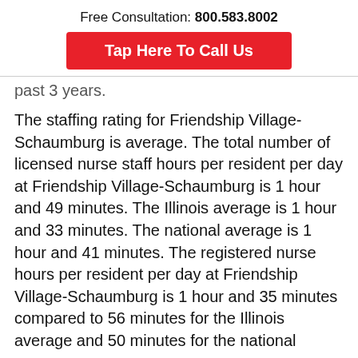Free Consultation: 800.583.8002
[Figure (other): Red button labeled 'Tap Here To Call Us']
past 3 years.
The staffing rating for Friendship Village-Schaumburg is average. The total number of licensed nurse staff hours per resident per day at Friendship Village-Schaumburg is 1 hour and 49 minutes. The Illinois average is 1 hour and 33 minutes. The national average is 1 hour and 41 minutes. The registered nurse hours per resident per day at Friendship Village-Schaumburg is 1 hour and 35 minutes compared to 56 minutes for the Illinois average and 50 minutes for the national